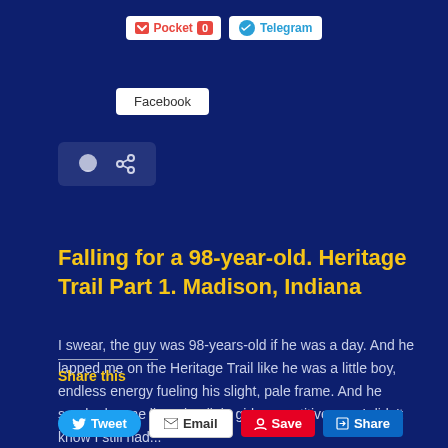[Figure (screenshot): Social sharing buttons: Pocket with count 0, Telegram, Facebook]
[Figure (screenshot): Comment and share icon buttons]
Falling for a 98-year-old. Heritage Trail Part 1. Madison, Indiana
I swear, the guy was 98-years-old if he was a day. And he lapped me on the Heritage Trail like he was a little boy, endless energy fueling his slight, pale frame. And he sparked some lingering little girl competitiveness I didn't know I still had...
Share this
[Figure (screenshot): Share buttons: Tweet, Email, Save, Share]